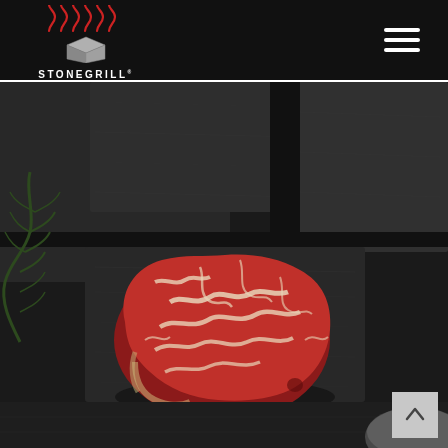STONEGRILL
[Figure (photo): A raw marbled wagyu/Angus beef steak resting on dark granite/volcanic stone blocks, with green pine sprigs visible in the background left, shot in a dark moody style.]
[Figure (logo): STONEGRILL logo: red steam/heat wavy lines above a grey stone block graphic, with the word STONEGRILL in white uppercase letters below.]